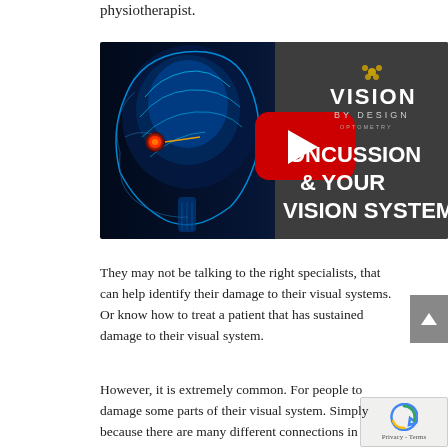physiotherapist.
[Figure (screenshot): YouTube video thumbnail showing a side-view X-ray/medical illustration of a human head and brain in blue tones, with a red YouTube play button overlay. Text reads 'CONCUSSION & YOUR VISION SYSTEM' in white bold text on a dark gray background. Vision By Design Optometry logo visible in top right corner.]
They may not be talking to the right specialists, that can help identify their damage to their visual systems. Or know how to treat a patient that has sustained damage to their visual system.
However, it is extremely common. For people to damage some parts of their visual system. Simply because there are many different connections in the visual system with vision...